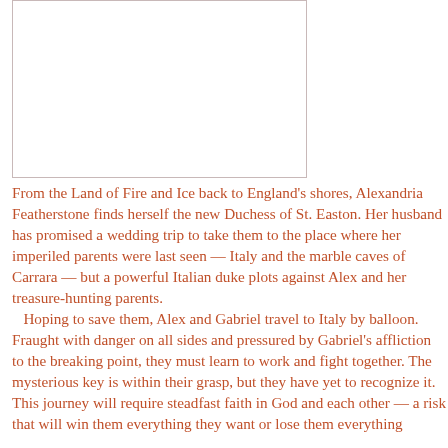[Figure (illustration): Book cover illustration placeholder — white rectangular area with a thin border on the left side of the page top]
From the Land of Fire and Ice back to England's shores, Alexandria Featherstone finds herself the new Duchess of St. Easton. Her husband has promised a wedding trip to take them to the place where her imperiled parents were last seen — Italy and the marble caves of Carrara — but a powerful Italian duke plots against Alex and her treasure-hunting parents.
   Hoping to save them, Alex and Gabriel travel to Italy by balloon. Fraught with danger on all sides and pressured by Gabriel's affliction to the breaking point, they must learn to work and fight together. The mysterious key is within their grasp, but they have yet to recognize it. This journey will require steadfast faith in God and each other — a risk that will win them everything they want or lose them everything